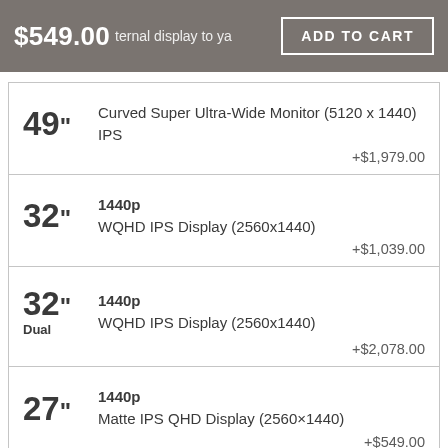$549.00 ternal display to ya ADD TO CART
| Size | Description | Price |
| --- | --- | --- |
| 49" | Curved Super Ultra-Wide Monitor (5120 x 1440) IPS | +$1,979.00 |
| 32" | 1440p WQHD IPS Display (2560x1440) | +$1,039.00 |
| 32" Dual | 1440p WQHD IPS Display (2560x1440) | +$2,078.00 |
| 27" | 1440p Matte IPS QHD Display (2560×1440) | +$549.00 |